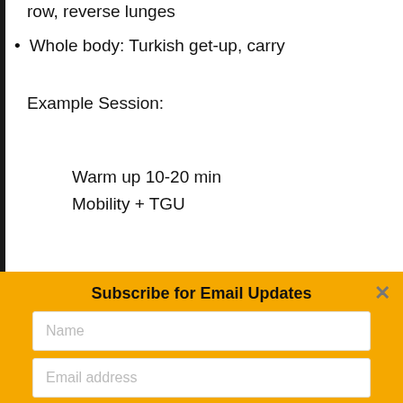row, reverse lunges
Whole body: Turkish get-up, carry
Example Session:
Warm up 10-20 min
Mobility + TGU
Subscribe for Email Updates
Name
Email address
SUBMIT